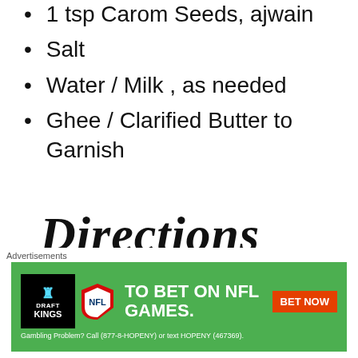1 tsp Carom Seeds, ajwain
Salt
Water / Milk , as needed
Ghee / Clarified Butter to Garnish
Directions
1  Mix Wheat Flour, salt and
[Figure (infographic): DraftKings advertisement banner promoting NFL game betting with green background, DraftKings logo, NFL shield logo, 'TO BET ON NFL GAMES.' text, orange BET NOW button, and gambling problem disclaimer.]